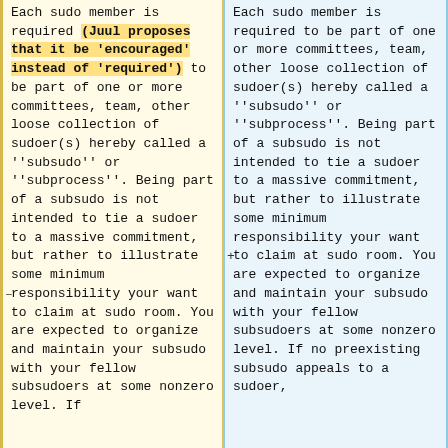Each sudo member is required (Juul proposes that it be 'encouraged' instead of 'required') to be part of one or more committees, team, other loose collection of sudoer(s) hereby called a ''subsudo'' or ''subprocess''. Being part of a subsudo is not intended to tie a sudoer to a massive commitment, but rather to illustrate some minimum responsibility your want to claim at sudo room. You are expected to organize and maintain your subsudo with your fellow subsudoers at some nonzero level. If
Each sudo member is required to be part of one or more committees, team, other loose collection of sudoer(s) hereby called a ''subsudo'' or ''subprocess''. Being part of a subsudo is not intended to tie a sudoer to a massive commitment, but rather to illustrate some minimum responsibility your want to claim at sudo room. You are expected to organize and maintain your subsudo with your fellow subsudoers at some nonzero level. If no preexisting subsudo appeals to a sudoer,